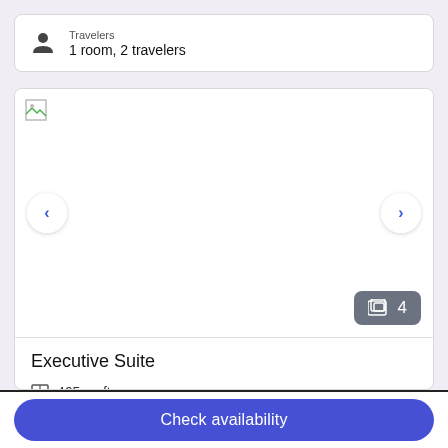Travelers
1 room, 2 travelers
[Figure (screenshot): Hotel room image carousel with broken image placeholder, left/right navigation arrows, and a photo count badge showing 4 photos]
Executive Suite
465 sq ft
Check availability